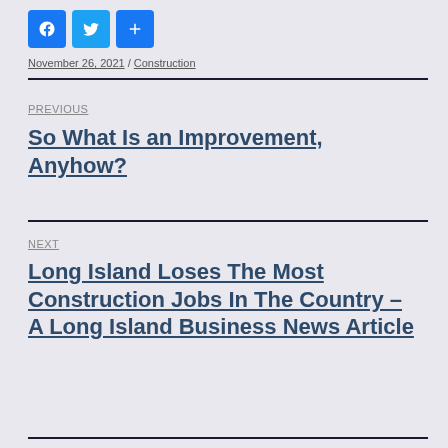[Figure (other): Social share buttons: Facebook, Twitter, and a generic share/plus button]
November 26, 2021 / Construction
PREVIOUS
So What Is an Improvement, Anyhow?
NEXT
Long Island Loses The Most Construction Jobs In The Country – A Long Island Business News Article